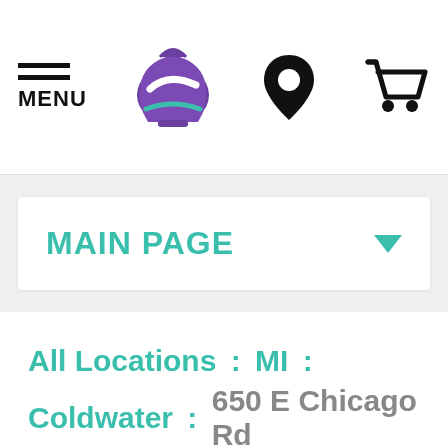[Figure (screenshot): Taco Bell website navigation bar with hamburger menu labeled MENU, Taco Bell logo (purple), location pin icon, and shopping cart icon]
MAIN PAGE ▾
All Locations : MI : Coldwater : 650 E Chicago Rd